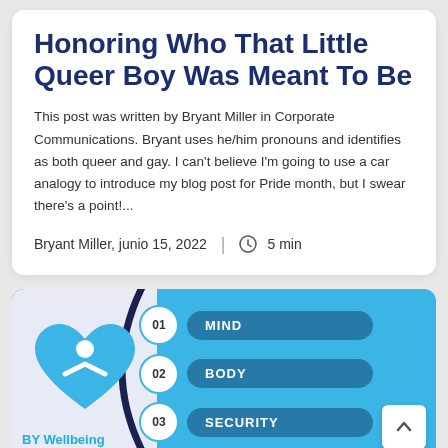Honoring Who That Little Queer Boy Was Meant To Be
This post was written by Bryant Miller in Corporate Communications. Bryant uses he/him pronouns and identifies as both queer and gay. I can't believe I'm going to use a car analogy to introduce my blog post for Pride month, but I swear there's a point!...
Bryant Miller, junio 15, 2022  |  🕐 5 min
[Figure (infographic): BY Wellbeing infographic showing three numbered items: 01 MIND, 02 BODY, 03 SECURITY. Features a heart logo on the left with a person figure inside, alongside a dark arc. Light lavender left panel and blue right panel with rounded rectangle labels for each item.]